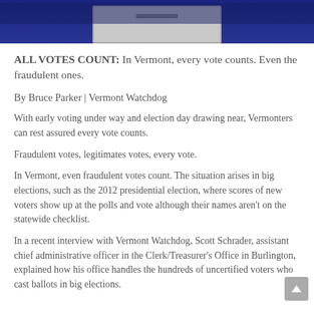[Figure (photo): Photograph of a ballot box on a dark blue background, partially visible at top of page]
ALL VOTES COUNT: In Vermont, every vote counts. Even the fraudulent ones.
By Bruce Parker | Vermont Watchdog
With early voting under way and election day drawing near, Vermonters can rest assured every vote counts.
Fraudulent votes, legitimates votes, every vote.
In Vermont, even fraudulent votes count. The situation arises in big elections, such as the 2012 presidential election, where scores of new voters show up at the polls and vote although their names aren't on the statewide checklist.
In a recent interview with Vermont Watchdog, Scott Schrader, assistant chief administrative officer in the Clerk/Treasurer's Office in Burlington, explained how his office handles the hundreds of uncertified voters who cast ballots in big elections.